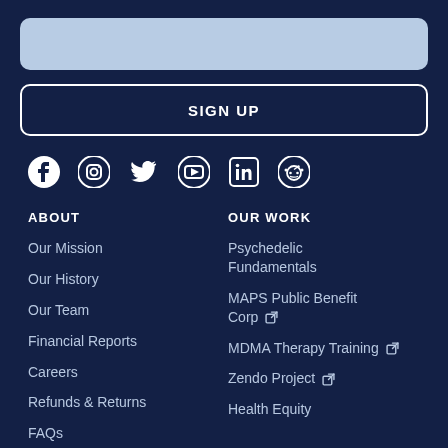[Figure (other): Light blue input field / search bar]
SIGN UP
[Figure (other): Social media icons row: Facebook, Instagram, Twitter, YouTube, LinkedIn, Reddit]
ABOUT
Our Mission
Our History
Our Team
Financial Reports
Careers
Refunds & Returns
FAQs
OUR WORK
Psychedelic Fundamentals
MAPS Public Benefit Corp
MDMA Therapy Training
Zendo Project
Health Equity